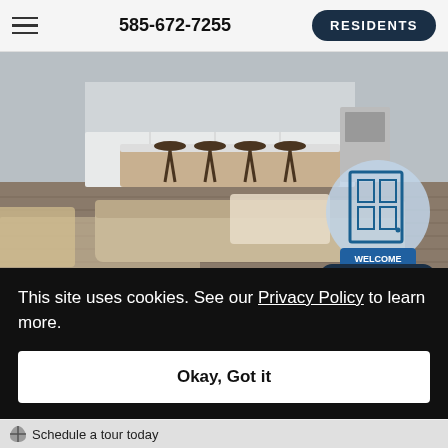585-672-7255  RESIDENTS
[Figure (photo): Interior photo of a modern apartment living room and kitchen area with dark wood floors, white kitchen cabinets, bar stools at a kitchen island, and a beige sectional sofa with a throw blanket. A welcome chatbot widget overlays the bottom-right corner showing a door icon with 'WELCOME' and 'I can help!' text.]
This site uses cookies. See our Privacy Policy to learn more.
Okay, Got it
Schedule a tour today